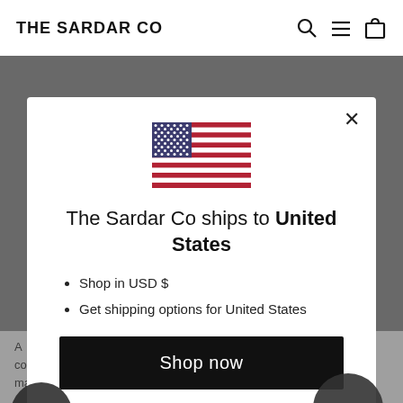THE SARDAR CO
[Figure (screenshot): Modal dialog on e-commerce website showing US flag, shipping destination, and shop now button]
A    s as Melareuca Alternifolia, the tea tree is not confused with the tea plant, which produces leaves used to make black, green tea.